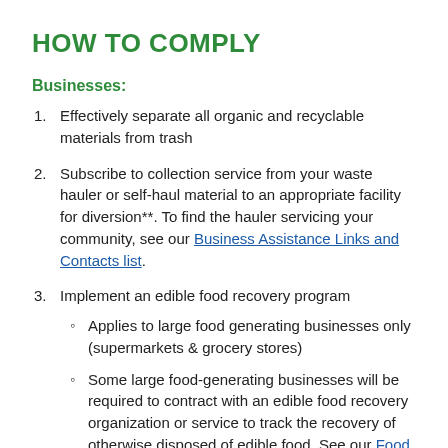HOW TO COMPLY
Businesses:
Effectively separate all organic and recyclable materials from trash
Subscribe to collection service from your waste hauler or self-haul material to an appropriate facility for diversion**. To find the hauler servicing your community, see our Business Assistance Links and Contacts list.
Implement an edible food recovery program
Applies to large food generating businesses only (supermarkets & grocery stores)
Some large food-generating businesses will be required to contract with an edible food recovery organization or service to track the recovery of otherwise disposed of edible food. See our Food